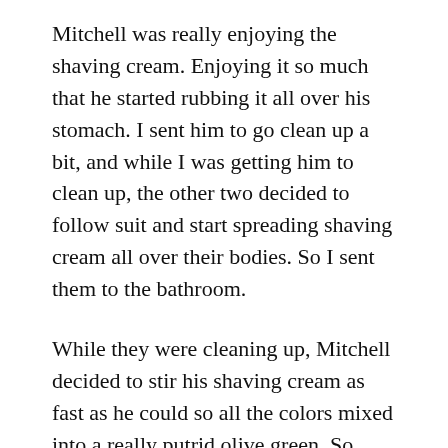Mitchell was really enjoying the shaving cream. Enjoying it so much that he started rubbing it all over his stomach. I sent him to go clean up a bit, and while I was getting him to clean up, the other two decided to follow suit and start spreading shaving cream all over their bodies. So I sent them to the bathroom.
While they were cleaning up, Mitchell decided to stir his shaving cream as fast as he could so all the colors mixed into a really putrid olive green. So much for lovely swirls. Then the little two came back from the bathroom, and Henry decided to make his a solid-greeny mush, too.
I started to get a bit irritated that they were